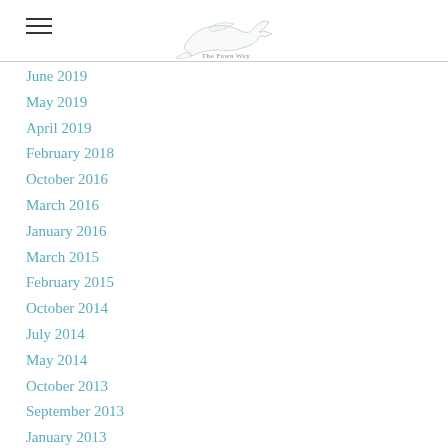The Fawn Way — navigation header with logo and hamburger menu
June 2019
May 2019
April 2019
February 2018
October 2016
March 2016
January 2016
March 2015
February 2015
October 2014
July 2014
May 2014
October 2013
September 2013
January 2013
December 2012
November 2012